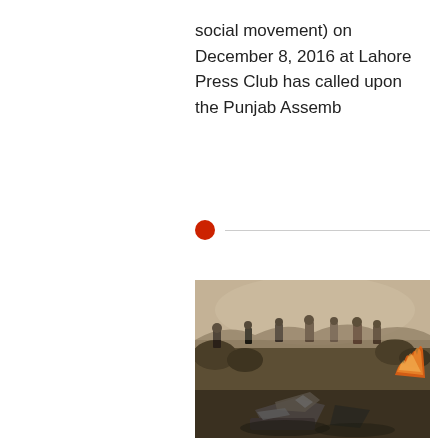social movement) on December 8, 2016 at Lahore Press Club has called upon the Punjab Assemb
[Figure (photo): Crash site photo showing people standing amid smoke and debris in a hilly, scrubland area with fire visible on the right side and wreckage in the foreground.]